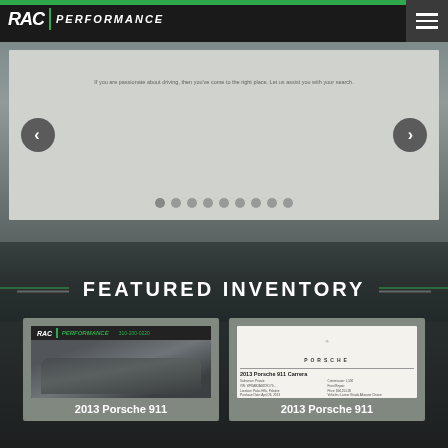RAC PERFORMANCE
[Figure (screenshot): Image carousel with navigation arrows and dot indicators, showing a landscape/road background]
FEATURED INVENTORY
[Figure (photo): 2013 Porsche 911 car photo with RAC Performance logo banner]
2013 Porsche 911
[Figure (screenshot): 2013 Porsche 911 Carrera spec sheet with Porsche logo]
2013 Porsche 911